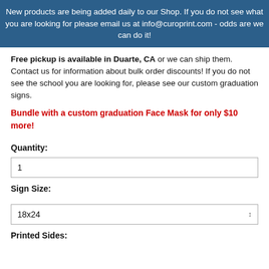New products are being added daily to our Shop. If you do not see what you are looking for please email us at info@curoprint.com - odds are we can do it!
Free pickup is available in Duarte, CA or we can ship them. Contact us for information about bulk order discounts! If you do not see the school you are looking for, please see our custom graduation signs.
Bundle with a custom graduation Face Mask for only $10 more!
Quantity:
1
Sign Size:
18x24
Printed Sides: